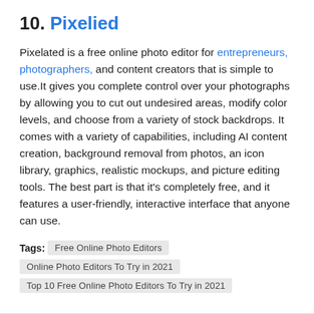10. Pixelied
Pixelated is a free online photo editor for entrepreneurs, photographers, and content creators that is simple to use.It gives you complete control over your photographs by allowing you to cut out undesired areas, modify color levels, and choose from a variety of stock backdrops. It comes with a variety of capabilities, including AI content creation, background removal from photos, an icon library, graphics, realistic mockups, and picture editing tools. The best part is that it's completely free, and it features a user-friendly, interactive interface that anyone can use.
Tags: Free Online Photo Editors
Online Photo Editors To Try in 2021
Top 10 Free Online Photo Editors To Try in 2021